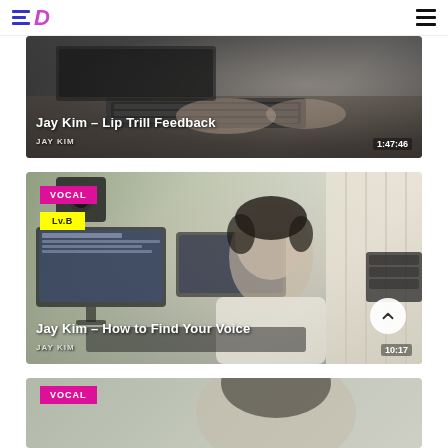EP logo and navigation menu
[Figure (screenshot): Video thumbnail for Jay Kim - Lip Trill Feedback showing hands on keyboard, duration 1:47:46, channel JAY KIM]
[Figure (screenshot): Video thumbnail for Jay Kim - How to Find Your Voice showing Jay Kim in studio with monitors and equipment, tagged VOCAL and Lv.B, duration 10:17, channel JAY KIM]
[Figure (screenshot): Partial video thumbnail tagged VOCAL, partially visible at bottom of page]